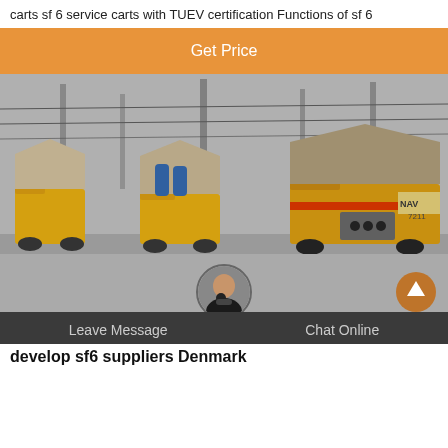carts sf 6 service carts with TUEV certification Functions of sf 6
Get Price
[Figure (photo): Row of yellow service trucks/carts parked at an electrical substation in winter conditions, with large transmission towers in background. Trucks carry grey equipment boxes branded with markings including 'NAV' and '7211'.]
Leave Message   Chat Online
develop sf6 suppliers Denmark